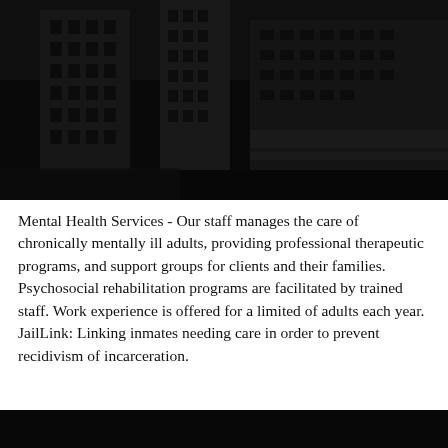[Figure (photo): Aerial or elevated view of a multi-story urban building complex, dark/grayscale tone]
Mental Health Services - Our staff manages the care of chronically mentally ill adults, providing professional therapeutic programs, and support groups for clients and their families. Psychosocial rehabilitation programs are facilitated by trained staff. Work experience is offered for a limited of adults each year. JailLink: Linking inmates needing care in order to prevent recidivism of incarceration.
[Figure (photo): Dark/black bar at bottom of page, partial image]